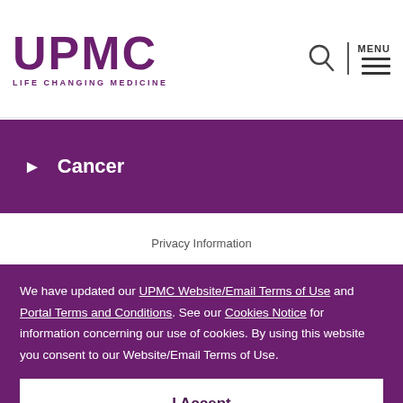[Figure (logo): UPMC logo with tagline LIFE CHANGING MEDICINE in purple]
[Figure (infographic): Search icon and hamburger menu icon with MENU label in top right]
Cancer
Privacy Information
We have updated our UPMC Website/Email Terms of Use and Portal Terms and Conditions. See our Cookies Notice for information concerning our use of cookies. By using this website you consent to our Website/Email Terms of Use.
I Accept